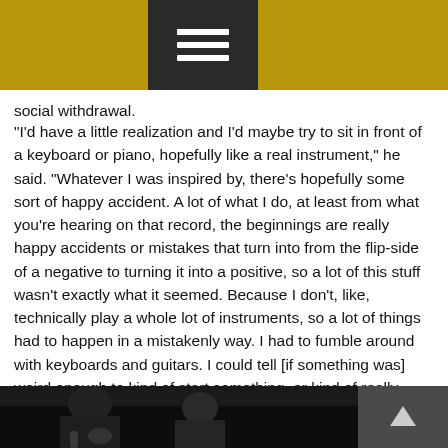social withdrawal.
“I’d have a little realization and I’d maybe try to sit in front of a keyboard or piano, hopefully like a real instrument,” he said. “Whatever I was inspired by, there’s hopefully some sort of happy accident. A lot of what I do, at least from what you’re hearing on that record, the beginnings are really happy accidents or mistakes that turn into from the flip-side of a negative to turning it into a positive, so a lot of this stuff wasn’t exactly what it seemed. Because I don’t, like, technically play a whole lot of instruments, so a lot of things had to happen in a mistakenly way. I had to fumble around with keyboards and guitars. I could tell [if something was] weird enough to kind of start something, or kind of really started resonating with me, so I followed those leads.”
[Figure (photo): Black and white photograph showing a person at the bottom of the page]